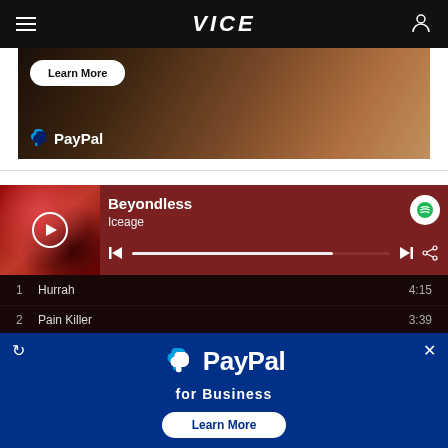VICE
[Figure (screenshot): PayPal advertisement banner with 'Learn More' button and PayPal logo over a restaurant/cafe background image]
[Figure (screenshot): Spotify-style music player showing 'Beyondless' by Iceage with album art, play button, progress bar, and track list including 'Hurrah 4:15' and 'Pain Killer 3:39']
[Figure (screenshot): PayPal for Business overlay advertisement with PayPal logo, 'for Business' text, and 'Learn More' button on blue background]